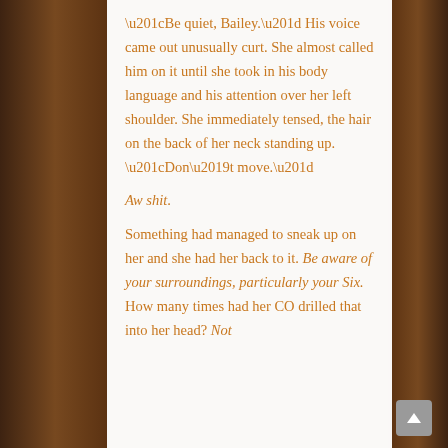“Be quiet, Bailey.” His voice came out unusually curt. She almost called him on it until she took in his body language and his attention over her left shoulder. She immediately tensed, the hair on the back of her neck standing up. “Don’t move.”
Aw shit.
Something had managed to sneak up on her and she had her back to it. Be aware of your surroundings, particularly your Six. How many times had her CO drilled that into her head? Not